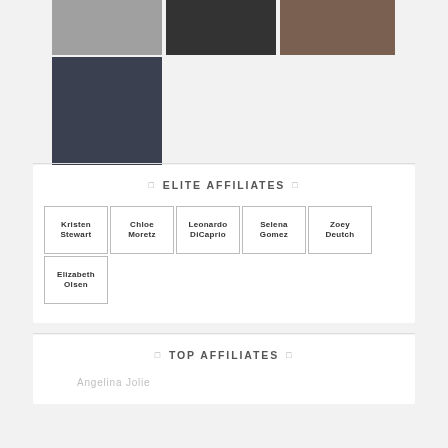[Figure (photo): Three portrait photos in a row at top of page]
[Figure (photo): Single portrait photo below the top row]
ELITE AFFILIATES
Kristen Stewart
Chloe Moretz
Leonardo DiCaprio
Selena Gomez
Zoey Deutch
Elizabeth Olsen
TOP AFFILIATES
Angelina Jolie